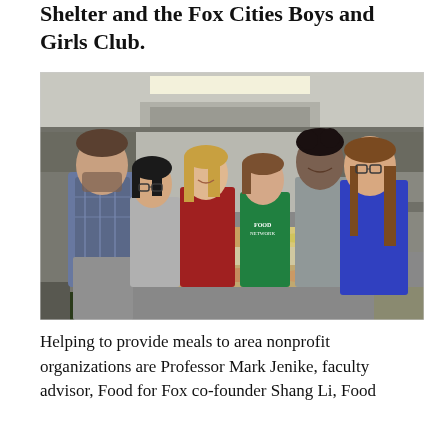Shelter and the Fox Cities Boys and Girls Club.
[Figure (photo): Six people standing in a commercial kitchen behind a stainless steel counter with food trays. Left to right: a tall man in plaid shirt, a young woman, a young woman in red, a young woman in a green Food Network t-shirt, a young man in grey, and a woman in blue.]
Helping to provide meals to area nonprofit organizations are Professor Mark Jenike, faculty advisor, Food for Fox co-founder Shang Li, Food